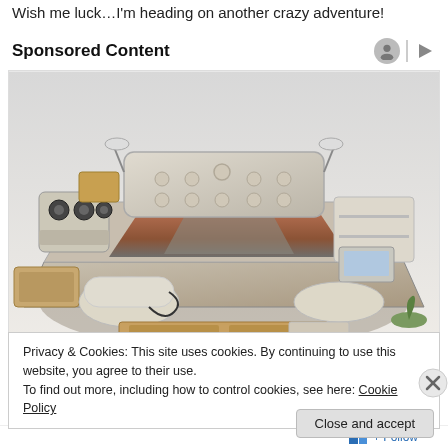Wish me luck…I'm heading on another crazy adventure!
Sponsored Content
[Figure (photo): High-tech luxury bed with built-in speakers, drawers, massage chair, laptop stand, and multiple compartments]
Privacy & Cookies: This site uses cookies. By continuing to use this website, you agree to their use.
To find out more, including how to control cookies, see here: Cookie Policy
Close and accept